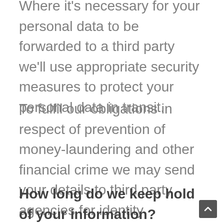Where it's necessary for your personal data to be forwarded to a third party we'll use appropriate security measures to protect your personal data in transit.
To fulfil our obligations in respect of prevention of money-laundering and other financial crime we may send your details to third party agencies for identity verification purposes.
How long do we keep hold of your information?